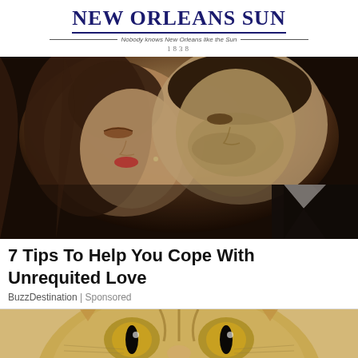NEW ORLEANS SUN — Nobody knows New Orleans like the Sun — 1838
[Figure (photo): Close-up of a man and woman about to kiss, the woman with long brown hair, man in a suit with white collar]
7 Tips To Help You Cope With Unrequited Love
BuzzDestination | Sponsored
[Figure (photo): Close-up of a tabby cat's face looking at camera]